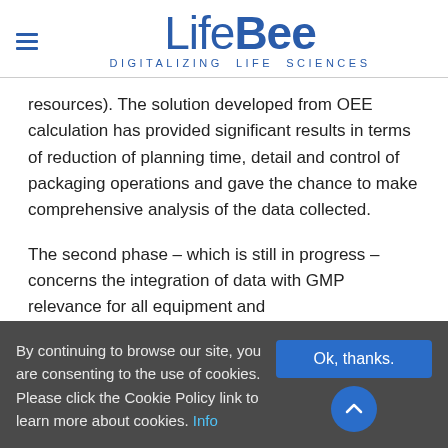LifeBee DIGITALIZING LIFE SCIENCES
resources). The solution developed from OEE calculation has provided significant results in terms of reduction of planning time, detail and control of packaging operations and gave the chance to make comprehensive analysis of the data collected.
The second phase – which is still in progress – concerns the integration of data with GMP relevance for all equipment and
By continuing to browse our site, you are consenting to the use of cookies. Please click the Cookie Policy link to learn more about cookies. Info